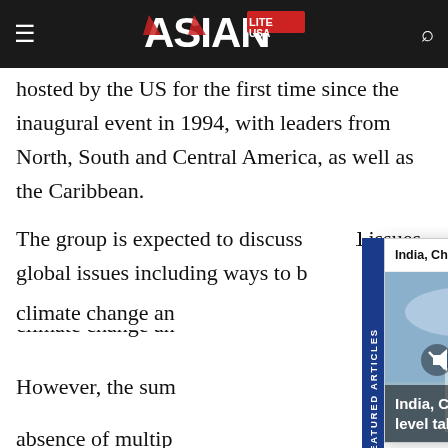Asian Lite USA — navigation bar
hosted by the US for the first time since the inaugural event in 1994, with leaders from North, South and Central America, as well as the Caribbean.
The group is expected to discuss global issues including ways to boost the economy, tackle climate change and
[Figure (photo): Featured article card overlay: 'India, China hold military level talks' — showing Chinese and Indian flags on flagpoles in front of a building with blue roof, with military personnel. Card has a vertical blue 'FEATURED ARTICLES' tab on the left side and a caption overlay at the bottom.]
However, the summit was overshadowed by the absence of multiple hemisphere leaders, including those of El Salvador, who boycotted the meeting and those of Cuba, Venezuela and Nicaragua, who were excluded by Washington.